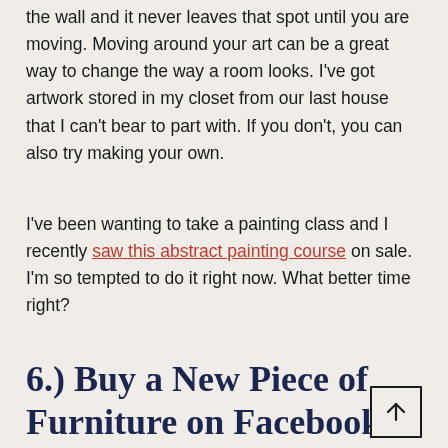the wall and it never leaves that spot until you are moving. Moving around your art can be a great way to change the way a room looks. I've got artwork stored in my closet from our last house that I can't bear to part with. If you don't, you can also try making your own.
I've been wanting to take a painting class and I recently saw this abstract painting course on sale. I'm so tempted to do it right now. What better time right?
6.) Buy a New Piece of Furniture on Facebook